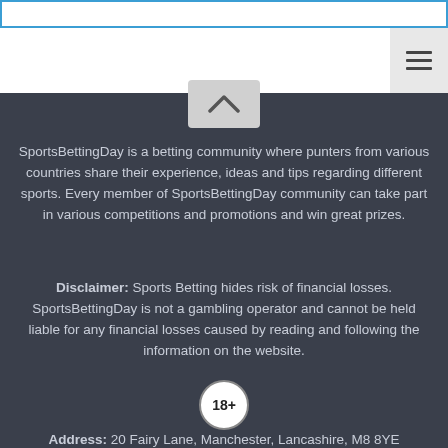[Figure (other): Top browser address bar (white rectangle with blue border)]
[Figure (other): White header area with hamburger menu icon on the right]
[Figure (other): Chevron (up arrow) button on dark background]
SportsBettingDay is a betting community where punters from various countries share their experience, ideas and tips regarding different sports. Every member of SportsBettingDay community can take part in various competitions and promotions and win great prizes.
Disclaimer: Sports Betting hides risk of financial losses. SportsBettingDay is not a gambling operator and cannot be held liable for any financial losses caused by reading and following the information on the website.
[Figure (other): 18+ age restriction badge - white circle with 18+ text]
Address: 20 Fairy Lane, Manchester, Lancashire, M8 8YE